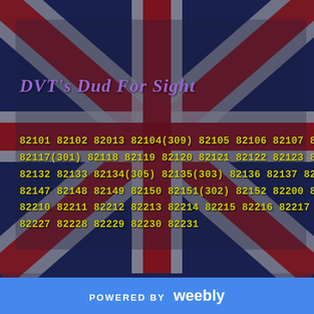[Figure (illustration): Union Jack (UK flag) background image with diagonal red and white stripes on blue background, heavily styled with dark overlay]
DVT's Dud For Sight
82101 82102 82013 82104(309) 82105 82106 82107 821... 82117(301) 82118 82119 82120 82121 82122 82123 82... 82132 82133 82134(305) 82135(303) 82136 82137 8213... 82147 82148 82149 82150 82151(302) 82152 82200 82... 82210 82211 82212 82213 82214 82215 82216 82217 8... 82227 82228 82229 82230 82231
POWERED BY weebly